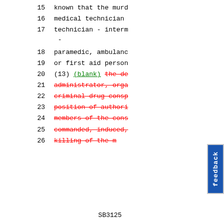15    known that the murd
16    medical technician
17    technician - interm -
18    paramedic, ambulanc
19    or first aid person
20    (13) (blank) [strikethrough: the de]
21    [strikethrough: administrator, orga]
22    [strikethrough: criminal drug consp]
23    [strikethrough: position of authori]
24    [strikethrough: members of the cons]
25    [strikethrough: commanded, induced,]
26    [strikethrough: killing of the m]
SB3125